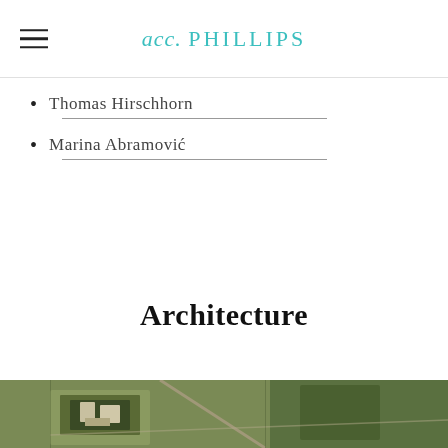acc. PHILLIPS
Thomas Hirschhorn
Marina Abramović
Architecture
[Figure (photo): Aerial photograph of an architectural site or estate, showing buildings and green grounds from above.]